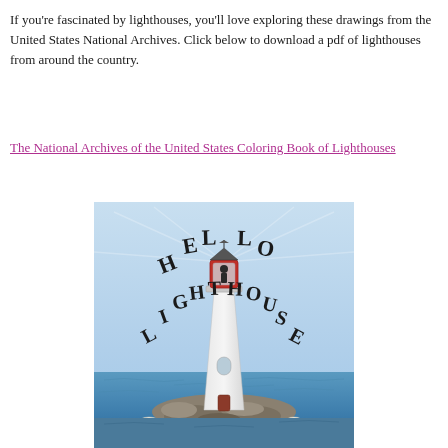If you're fascinated by lighthouses, you'll love exploring these drawings from the United States National Archives. Click below to download a pdf of lighthouses from around the country.
The National Archives of the United States Coloring Book of Lighthouses
[Figure (illustration): Book cover illustration titled 'Hello Lighthouse' showing a white and red lighthouse on rocky shoreline with the ocean in the background. The text 'HELLO LIGHTHOUSE' is displayed in decorative lettering around the lighthouse.]